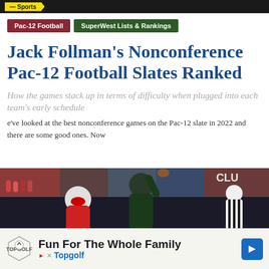Sports
Pac-12 Football   SuperWest Lists & Rankings
Jack Follman's Nonconference Pac-12 Football Slates Ranked
How the games stack up in terms of difficulty when plugged into each team's early schedule
e've looked at the best nonconference games on the Pac-12 slate in 2022 and there are some good ones. Now
[Figure (photo): Football game action photo showing players from two teams competing, with a crowd in the background and a referee visible on the right side. 'CLU' text visible in upper right corner.]
Fun For The Whole Family Topgolf